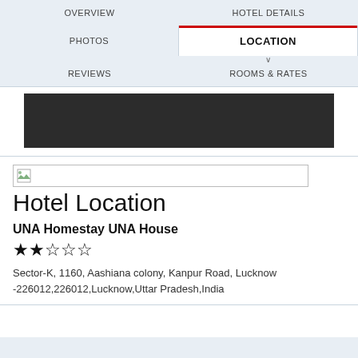OVERVIEW | HOTEL DETAILS | PHOTOS | LOCATION | REVIEWS | ROOMS & RATES
[Figure (screenshot): Dark map area placeholder]
[Figure (illustration): Broken image placeholder icon]
Hotel Location
UNA Homestay UNA House
★★☆☆☆
Sector-K, 1160, Aashiana colony, Kanpur Road, Lucknow -226012,226012,Lucknow,Uttar Pradesh,India